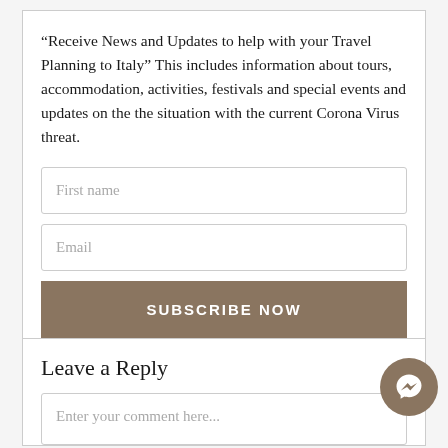“Receive News and Updates to help with your Travel Planning to Italy” This includes information about tours, accommodation, activities, festivals and special events and updates on the the situation with the current Corona Virus threat.
[Figure (screenshot): Newsletter subscription form with First name and Email fields, and a SUBSCRIBE NOW button in tan/brown color.]
Leave a Reply
[Figure (screenshot): Comment text area with placeholder text 'Enter your comment here...']
[Figure (other): Facebook Messenger chat button, circular tan/brown icon with messenger lightning bolt logo]